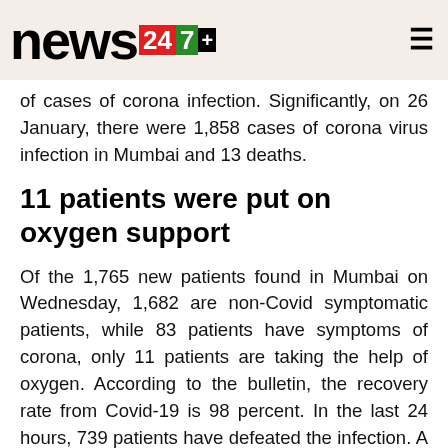news247+
of cases of corona infection. Significantly, on 26 January, there were 1,858 cases of corona virus infection in Mumbai and 13 deaths.
11 patients were put on oxygen support
Of the 1,765 new patients found in Mumbai on Wednesday, 1,682 are non-Covid symptomatic patients, while 83 patients have symptoms of corona, only 11 patients are taking the help of oxygen. According to the bulletin, the recovery rate from Covid-19 is 98 percent. In the last 24 hours, 739 patients have defeated the infection. A total of 10,46,972 patients have become infection free in Mumbai so far.